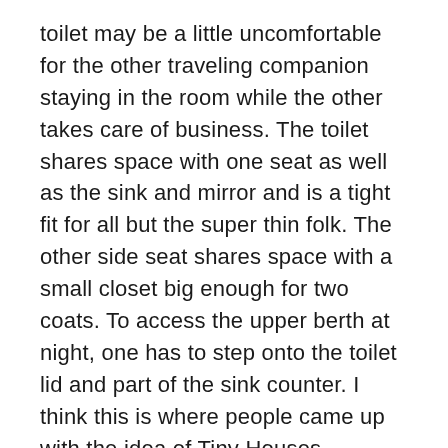toilet may be a little uncomfortable for the other traveling companion staying in the room while the other takes care of business. The toilet shares space with one seat as well as the sink and mirror and is a tight fit for all but the super thin folk. The other side seat shares space with a small closet big enough for two coats. To access the upper berth at night, one has to step onto the toilet lid and part of the sink counter. I think this is where people came up with the idea of Tiny Houses.
Standard bedroom also provides seating in a chair and couch during the day and upper/lower bedding for two at night. This is similar to the handicap/accessible room except for